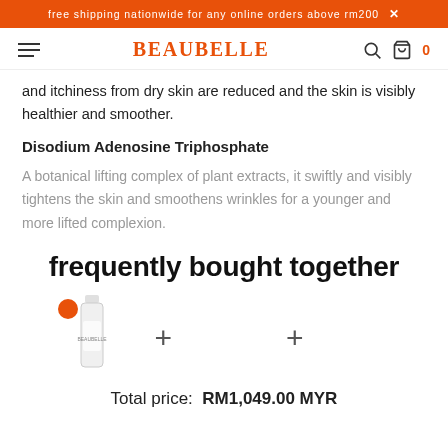free shipping nationwide for any online orders above rm200 ×
BEAUBELLE  🔍  🛒 0
and itchiness from dry skin are reduced and the skin is visibly healthier and smoother.
Disodium Adenosine Triphosphate
A botanical lifting complex of plant extracts, it swiftly and visibly tightens the skin and smoothens wrinkles for a younger and more lifted complexion.
frequently bought together
[Figure (photo): A skincare product bottle with an orange dot marker, flanked by two plus signs indicating a bundle combination.]
Total price:  RM1,049.00 MYR